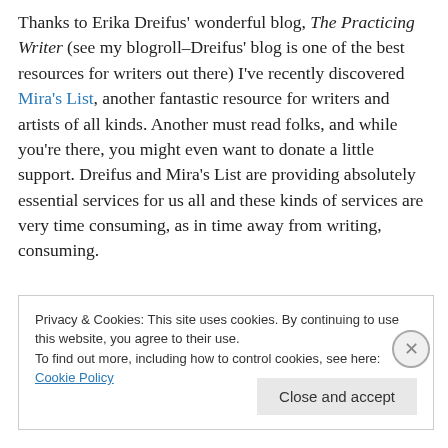Thanks to Erika Dreifus' wonderful blog, The Practicing Writer (see my blogroll–Dreifus' blog is one of the best resources for writers out there) I've recently discovered Mira's List, another fantastic resource for writers and artists of all kinds. Another must read folks, and while you're there, you might even want to donate a little support. Dreifus and Mira's List are providing absolutely essential services for us all and these kinds of services are very time consuming, as in time away from writing, consuming.
Privacy & Cookies: This site uses cookies. By continuing to use this website, you agree to their use. To find out more, including how to control cookies, see here: Cookie Policy